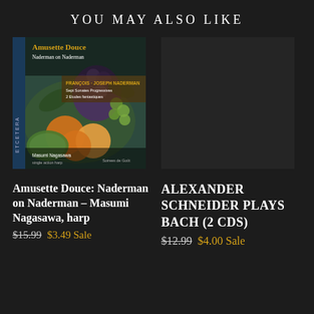YOU MAY ALSO LIKE
[Figure (photo): Album cover for Amusette Douce: Naderman on Naderman - Masumi Nagasawa, harp. Shows a classical Dutch still life painting of fruits including grapes, peaches, and melon. Text on cover: Amusette Douce, Naderman on Naderman, FRANCOIS JOSEPH NADERMAN, Sept Sonates Progressives, 2 Etudes fantastiques, Masumi Nagasawa, single action harp, Soirees de Gout, Etcetera label.]
[Figure (other): Dark placeholder rectangle for second album (Alexander Schneider Plays Bach 2 CDs) - image not visible/loaded]
Amusette Douce: Naderman on Naderman - Masumi Nagasawa, harp
$15.99 $3.49 Sale
ALEXANDER SCHNEIDER PLAYS BACH (2 CDS)
$12.99 $4.00 Sale